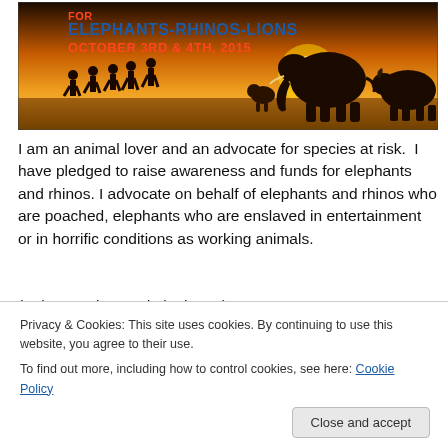[Figure (photo): Event banner showing silhouettes of people walking alongside elephants, a rhino, and a lion at sunset. Text reads 'FOR ELEPHANTS-RHINOS-LIONS OCTOBER 3RD & 4TH, 2015' in bold lettering.]
I am an animal lover and an advocate for species at risk.  I have pledged to raise awareness and funds for elephants and rhinos. I advocate on behalf of elephants and rhinos who are poached, elephants who are enslaved in entertainment or in horrific conditions as working animals.
Privacy & Cookies: This site uses cookies. By continuing to use this website, you agree to their use.
To find out more, including how to control cookies, see here: Cookie Policy
Close and accept